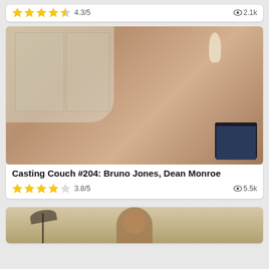4.3/5  👁2.1k
[Figure (photo): Thumbnail image for adult video content]
Casting Couch #204: Bruno Jones, Dean Monroe
3.8/5  👁5.5k
[Figure (photo): Partial thumbnail image at bottom of page]